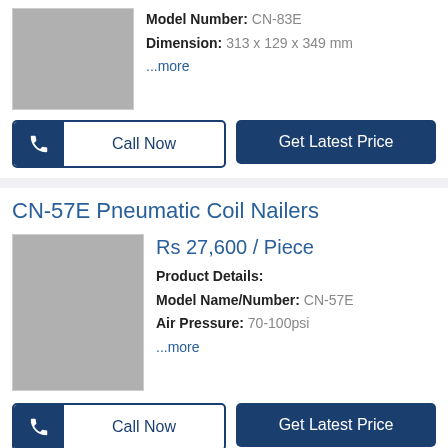[Figure (photo): Gray placeholder image for product CN-83E]
Model Number: CN-83E
Dimension: 313 x 129 x 349 mm
...more
Call Now
Get Latest Price
CN-57E Pneumatic Coil Nailers
[Figure (photo): Gray placeholder image for product CN-57E]
Rs 27,600 / Piece
Product Details:
Model Name/Number: CN-57E
Air Pressure: 70-100psi
...more
Call Now
Get Latest Price